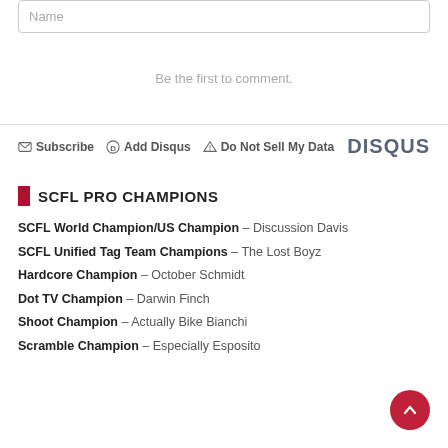Name
Be the first to comment.
Subscribe  Add Disqus  Do Not Sell My Data  DISQUS
SCFL PRO CHAMPIONS
SCFL World Champion/US Champion – Discussion Davis
SCFL Unified Tag Team Champions – The Lost Boyz
Hardcore Champion – October Schmidt
Dot TV Champion – Darwin Finch
Shoot Champion – Actually Bike Bianchi
Scramble Champion – Especially Esposito